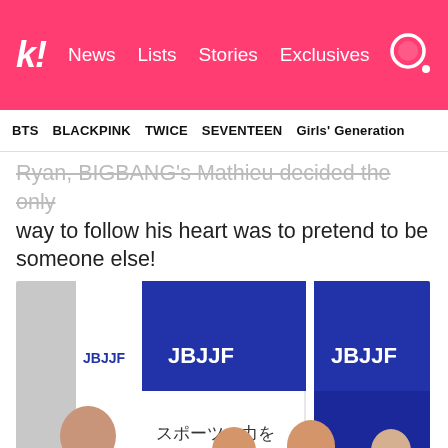k! News Lists Stories Exclusives
BTS  BLACKPINK  TWICE  SEVENTEEN  Girls' Generation
Ryan, BIGBANG's Mathieu decided the only way to follow his heart was to pretend to be someone else!
[Figure (photo): Photo of men in Brazilian Jiu-Jitsu uniforms (gi) standing in front of JBJJF banners with Japanese text reading スポーツの力を. One man in black gi, one in blue gi with white belt, one in white gi. A person in the foreground holds a smartphone. The setting appears to be a judo/BJJ tournament in Japan.]